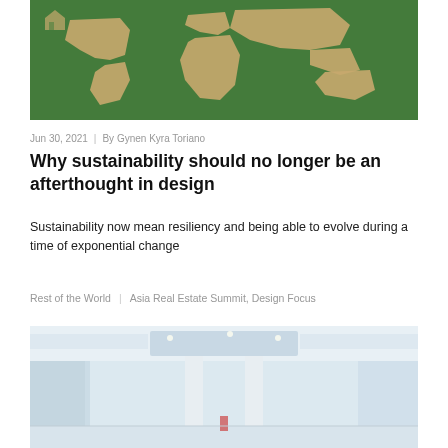[Figure (photo): Aerial view of a world map made from green grass with sandy/beige continents visible]
Jun 30, 2021  |  By Gynen Kyra Toriano
Why sustainability should no longer be an afterthought in design
Sustainability now mean resiliency and being able to evolve during a time of exponential change
Rest of the World  |  Asia Real Estate Summit, Design Focus
[Figure (photo): Interior of a modern shopping mall or commercial building with high ceilings, white columns, and glass elements]